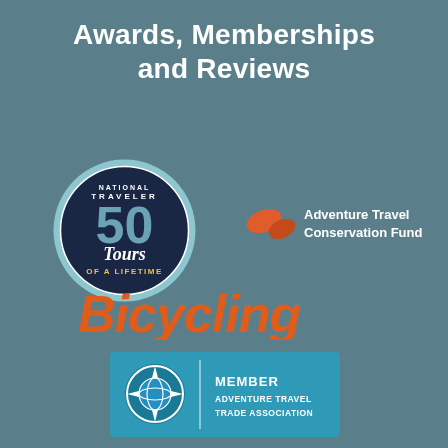Awards, Memberships and Reviews
[Figure (logo): National Geographic Traveler 50 Tours of a Lifetime circular badge — dark navy circle with light blue ring, text 'TRAVELER' at top, large '50' in blue, 'Tours OF A LIFETIME' in white italic script]
[Figure (logo): Adventure Travel Conservation Fund logo — two orange leaf/fish shapes and text 'Adventure Travel Conservation Fund' in white]
[Figure (logo): Bicycling magazine logo in large orange italic bold font on teal background]
[Figure (logo): Adventure Travel Trade Association Member badge — blue rectangle with globe compass rose icon on left and 'MEMBER ADVENTURE TRAVEL TRADE ASSOCIATION' text on right in white]